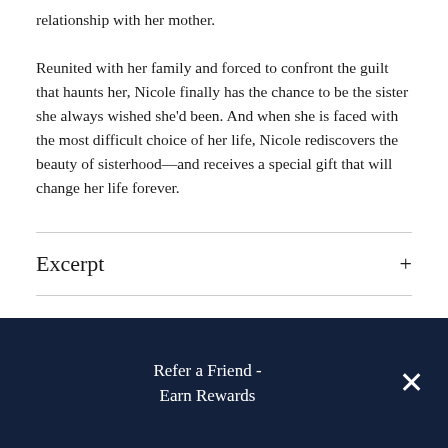relationship with her mother.
Reunited with her family and forced to confront the guilt that haunts her, Nicole finally has the chance to be the sister she always wished she'd been. And when she is faced with the most difficult choice of her life, Nicole rediscovers the beauty of sisterhood—and receives a special gift that will change her life forever.
Excerpt
Reading Group Guide
About The Author
Refer a Friend - Earn Rewards